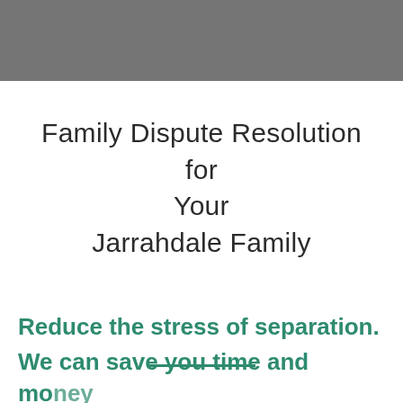[Figure (other): Grey header banner at the top of the page]
Family Dispute Resolution for Your Jarrahdale Family
Reduce the stress of separation. We can save you time and money.